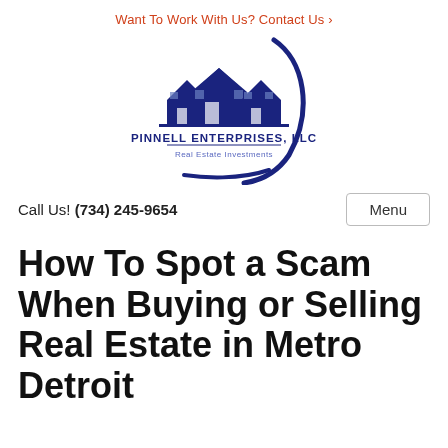Want To Work With Us? Contact Us ›
[Figure (logo): Pinnell Enterprises, LLC Real Estate Investments logo — two house silhouettes with a swoosh arc, dark navy blue, company name and tagline below]
Call Us! (734) 245-9654
How To Spot a Scam When Buying or Selling Real Estate in Metro Detroit